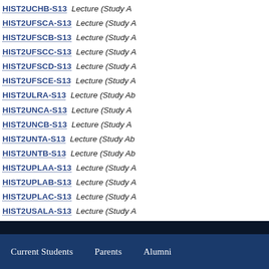HIST2UCHB-S13 Lecture (Study A
HIST2UFSCA-S13 Lecture (Study A
HIST2UFSCB-S13 Lecture (Study A
HIST2UFSCC-S13 Lecture (Study A
HIST2UFSCD-S13 Lecture (Study A
HIST2UFSCE-S13 Lecture (Study A
HIST2ULRA-S13 Lecture (Study Ab
HIST2UNCA-S13 Lecture (Study A
HIST2UNCB-S13 Lecture (Study A
HIST2UNTA-S13 Lecture (Study Ab
HIST2UNTB-S13 Lecture (Study Ab
HIST2UPLAA-S13 Lecture (Study A
HIST2UPLAB-S13 Lecture (Study A
HIST2UPLAC-S13 Lecture (Study A
HIST2USALA-S13 Lecture (Study A
HIST2USALB-S13 Lecture (Study A
HIST2USALC-S13 Lecture (Study A
HIST2USALD-S13 Lecture (Study A
HIST2UVALA-S13 Lecture (Study A
Current Students    Parents    Alumni